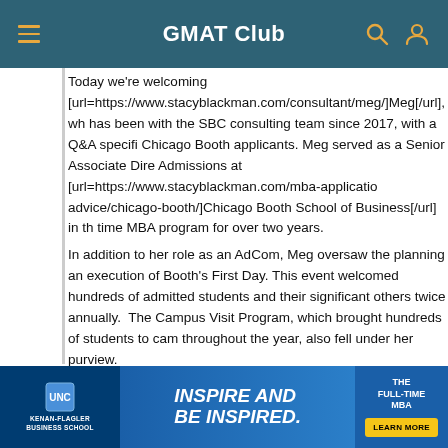GMAT Club
Today we're welcoming [url=https://www.stacyblackman.com/consultant/meg/]Meg[/url], who has been with the SBC consulting team since 2017, with a Q&A specific to Chicago Booth applicants. Meg served as a Senior Associate Director of Admissions at [url=https://www.stacyblackman.com/mba-application-advice/chicago-booth/]Chicago Booth School of Business[/url] in the full-time MBA program for over two years.
In addition to her role as an AdCom, Meg oversaw the planning and execution of Booth's First Day. This event welcomed hundreds of admitted students and their significant others twice annually. The Campus Visit Program, which brought hundreds of students to campus throughout the year, also fell under her purview.
[Figure (other): UNC Kenan-Flagler Business School advertisement banner: 'Inspire and Be Inspired. The Full-Time MBA. Learn More.']